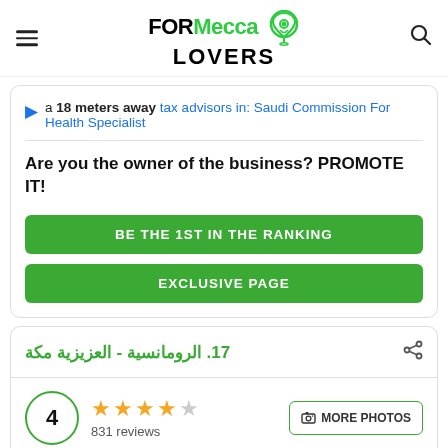FORMecca LOVERS
a 18 meters away tax advisors in: Saudi Commission For Health Specialist
Are you the owner of the business? PROMOTE IT!
BE THE 1ST IN THE RANKING
EXCLUSIVE PAGE
17. الرومانسية - العزيزية مكة
4  831 reviews  MORE PHOTOS